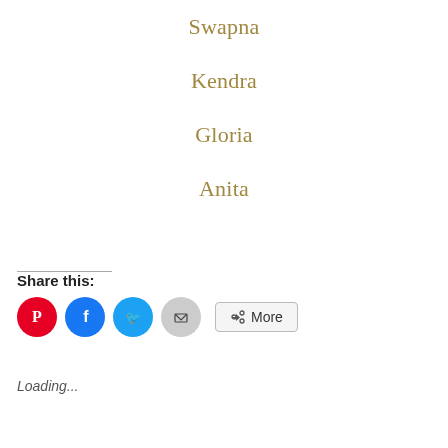Swapna
Kendra
Gloria
Anita
Share this:
Loading...